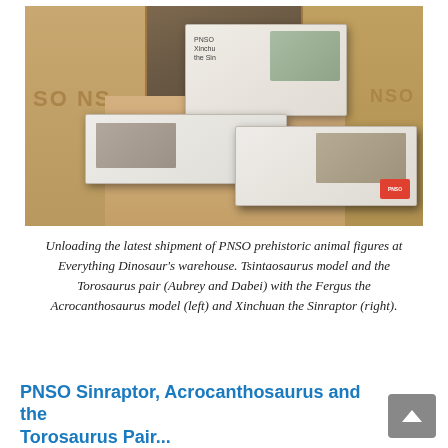[Figure (photo): Warehouse scene showing PNSO prehistoric animal figure boxes being unloaded. Cardboard shipping boxes are stacked with PNSO product boxes on top, including a Torosaurus pair box (Aubrey and Dabei) showing a horned dinosaur, an Acrocanthosaurus (Fergus) box on the left, and a Sinraptor (Xinchuan) box on the right with a red PNSO label.]
Unloading the latest shipment of PNSO prehistoric animal figures at Everything Dinosaur's warehouse. Tsintaosaurus model and the Torosaurus pair (Aubrey and Dabei) with the Fergus the Acrocanthosaurus model (left) and Xinchuan the Sinraptor (right).
PNSO Sinraptor, Acrocanthosaurus and the Torosaurus Pair...